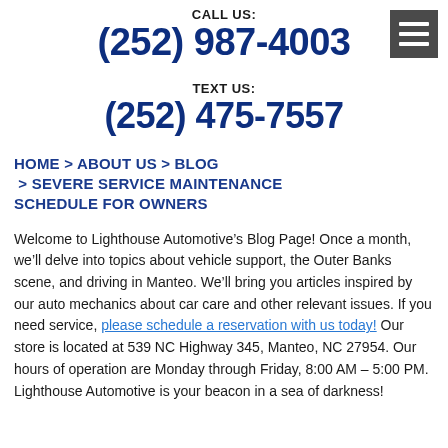CALL US:
(252) 987-4003
TEXT US:
(252) 475-7557
HOME > ABOUT US > BLOG > SEVERE SERVICE MAINTENANCE SCHEDULE FOR OWNERS
Welcome to Lighthouse Automotive’s Blog Page! Once a month, we’ll delve into topics about vehicle support, the Outer Banks scene, and driving in Manteo. We’ll bring you articles inspired by our auto mechanics about car care and other relevant issues. If you need service, please schedule a reservation with us today! Our store is located at 539 NC Highway 345, Manteo, NC 27954. Our hours of operation are Monday through Friday, 8:00 AM – 5:00 PM. Lighthouse Automotive is your beacon in a sea of darkness!